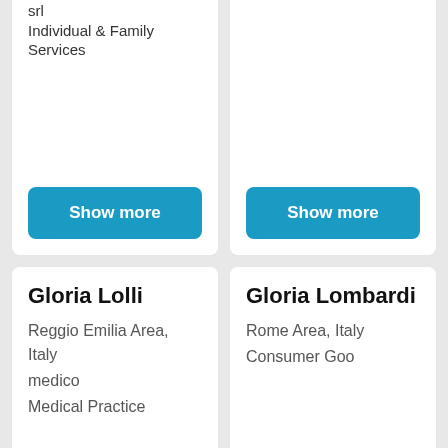srl
Individual & Family Services
Show more
Show more
Gloria Lolli
Reggio Emilia Area, Italy
medico
Medical Practice
Gloria Lombardi
Rome Area, Italy
Consumer Goo...